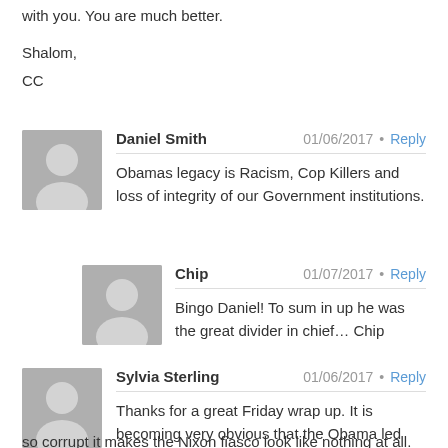with you. You are much better.

Shalom,
CC
Daniel Smith · 01/06/2017 · Reply
Obamas legacy is Racism, Cop Killers and loss of integrity of our Government institutions.
Chip · 01/07/2017 · Reply
Bingo Daniel! To sum in up he was the great divider in chief… Chip
Sylvia Sterling · 01/06/2017 · Reply
Thanks for a great Friday wrap up. It is becoming very obvious that the Obama led government is so corrupt it makes the Nixon fiasco look like nothing at all.